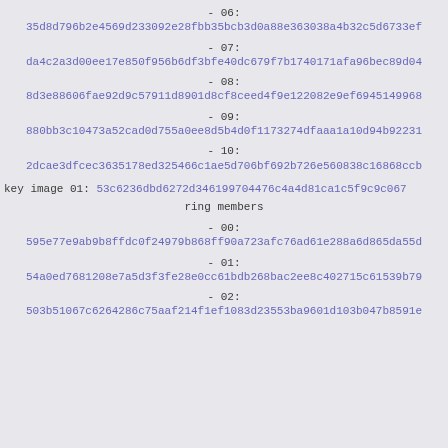- 06:
35d8d796b2e4569d233092e28fbb35bcb3d0a88e363038a4b32c5d6733ef
- 07:
da4c2a3d00ee17e850f956b6df3bfe40dc679f7b1740171afa96bec89d04
- 08:
8d3e88606fae92d9c57911d8901d8cf8ceed4f9e122082e9ef6945149968
- 09:
880bb3c10473a52cad0d755a0ee8d5b4d0f1173274dfaaa1a10d94b92231
- 10:
2dcae3dfcec3635178ed325466c1ae5d706bf692b726e560838c16868ccb
key image 01: 53c6236dbd6272d346199704476c4a4d81ca1c5f9c9c067
ring members
- 00:
595e77e9ab9b8ffdc0f24979b868ff90a723afc76ad61e288a6d865da55d
- 01:
54a0ed7681208e7a5d3f3fe28e0cc61bdb268bac2ee8c402715c61539b79
- 02:
503b51067c6264286c75aaf214f1ef1083d23553ba9601d103b047b8591e